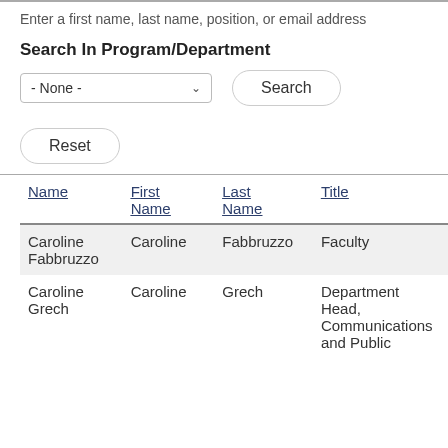Enter a first name, last name, position, or email address
Search In Program/Department
- None -
Search
Reset
| Name | First Name | Last Name | Title |
| --- | --- | --- | --- |
| Caroline Fabbruzzo | Caroline | Fabbruzzo | Faculty |
| Caroline Grech | Caroline | Grech | Department Head, Communications and Public... |